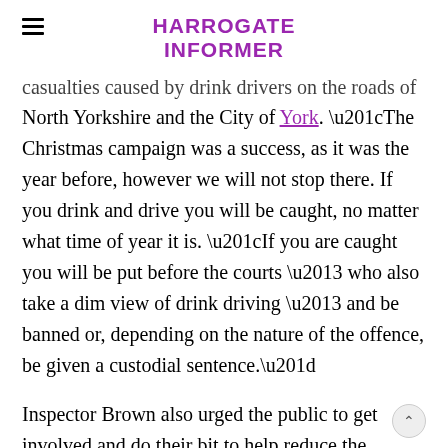HARROGATE INFORMER
casualties caused by drink drivers on the roads of North Yorkshire and the City of York. “The Christmas campaign was a success, as it was the year before, however we will not stop there. If you drink and drive you will be caught, no matter what time of year it is. “If you are caught you will be put before the courts – who also take a dim view of drink driving – and be banned or, depending on the nature of the offence, be given a custodial sentence.”
Inspector Brown also urged the public to get involved and do their bit to help reduce the number